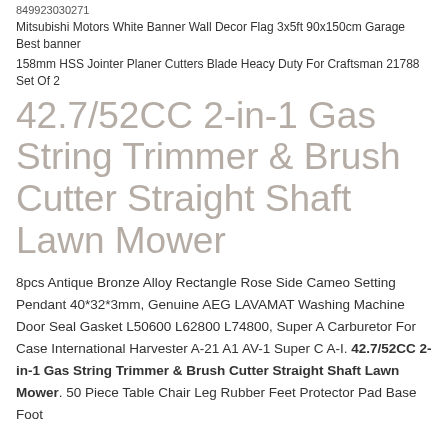849923030271
Mitsubishi Motors White Banner Wall Decor Flag 3x5ft 90x150cm Garage Best banner
158mm HSS Jointer Planer Cutters Blade Heacy Duty For Craftsman 21788 Set Of 2
42.7/52CC 2-in-1 Gas String Trimmer & Brush Cutter Straight Shaft Lawn Mower
8pcs Antique Bronze Alloy Rectangle Rose Side Cameo Setting Pendant 40*32*3mm, Genuine AEG LAVAMAT Washing Machine Door Seal Gasket L50600 L62800 L74800, Super A Carburetor For Case International Harvester A-21 A1 AV-1 Super C A-I. 42.7/52CC 2-in-1 Gas String Trimmer & Brush Cutter Straight Shaft Lawn Mower. 50 Piece Table Chair Leg Rubber Feet Protector Pad Base Foot